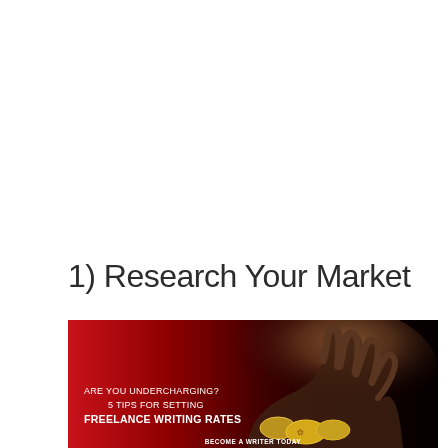1) Research Your Market
[Figure (illustration): Dark promotional image with a hand holding coins against a red-to-black gradient background. Text overlay reads: 'ARE YOU UNDERCHARGING? 5 TIPS FOR SETTING FREELANCE WRITING RATES' with 'BECOME A WRITER TODAY' at the bottom.]